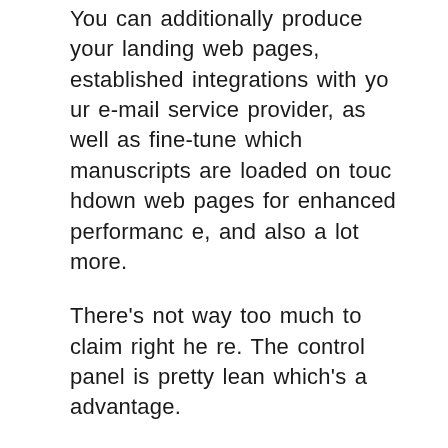You can additionally produce your landing web pages, established integrations with your e-mail service provider, as well as fine-tune which manuscripts are loaded on touchdown web pages for enhanced performance, and also a lot more.
There's not way too much to claim right here. The control panel is pretty lean which's a advantage.
Now, let's have a look at one of my favourite parts of the brand-new OptimizePress.
The brand-new “Lightning Building contractor” makes landing web page design very easy